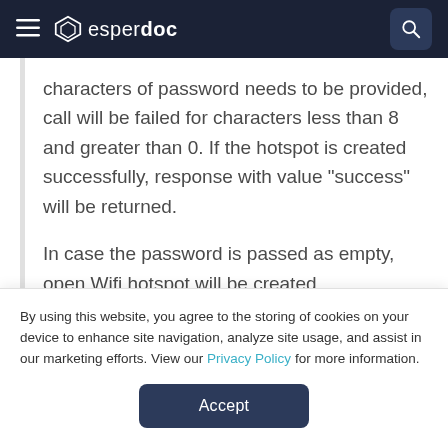esper doc
characters of password needs to be provided, call will be failed for characters less than 8 and greater than 0. If the hotspot is created successfully, response with value "success" will be returned.
In case the password is passed as empty, open Wifi hotspot will be created.
param 1 > SSID (name of the hotspot)
By using this website, you agree to the storing of cookies on your device to enhance site navigation, analyze site usage, and assist in our marketing efforts. View our Privacy Policy for more information.